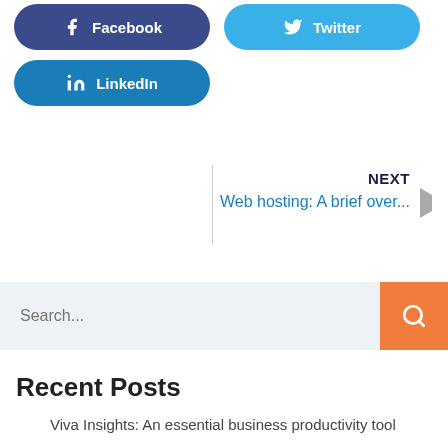[Figure (other): Social media share buttons: Facebook (dark blue), Twitter (blue), LinkedIn (teal-blue)]
NEXT
Web hosting: A brief over...
[Figure (other): Search bar with orange search button]
Recent Posts
Viva Insights: An essential business productivity tool